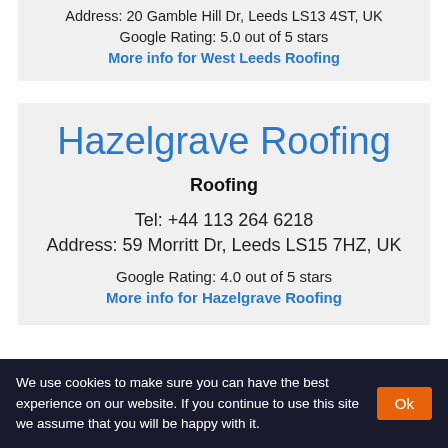Address: 20 Gamble Hill Dr, Leeds LS13 4ST, UK
Google Rating: 5.0 out of 5 stars
More info for West Leeds Roofing
Hazelgrave Roofing
Roofing
Tel: +44 113 264 6218
Address: 59 Morritt Dr, Leeds LS15 7HZ, UK
Google Rating: 4.0 out of 5 stars
More info for Hazelgrave Roofing
We use cookies to make sure you can have the best experience on our website. If you continue to use this site we assume that you will be happy with it.